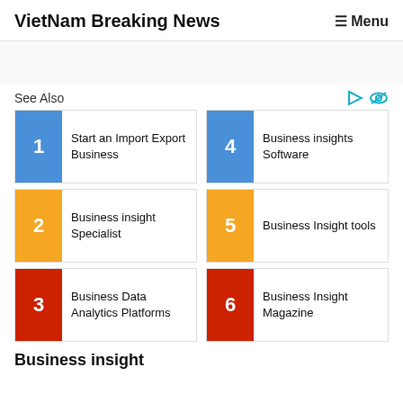VietNam Breaking News | Menu
See Also
1 Start an Import Export Business
4 Business insights Software
2 Business insight Specialist
5 Business Insight tools
3 Business Data Analytics Platforms
6 Business Insight Magazine
Business insight